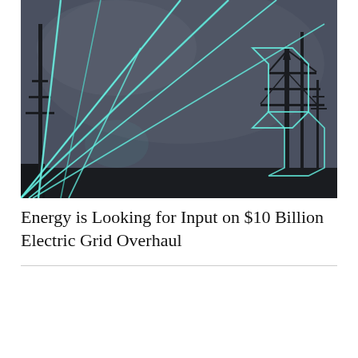[Figure (photo): Nighttime photo of electric power transmission towers with glowing cyan/teal light trails from power lines against a dark grey sky. The image shows high-voltage transmission infrastructure with dramatic light streaks.]
Energy is Looking for Input on $10 Billion Electric Grid Overhaul